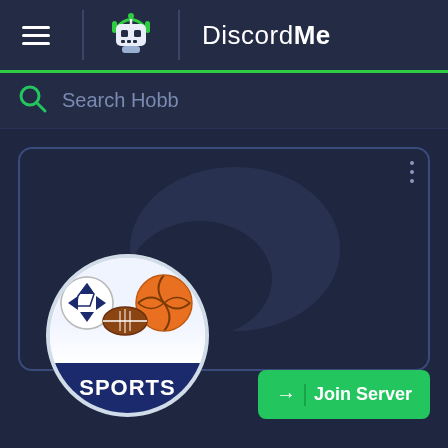DiscordMe
Search Hobb
[Figure (screenshot): DiscordMe server card with sports server logo showing soccer, football and basketball balls, a speech bubble watermark in the background, a three-dot menu icon, and a green Join Server button.]